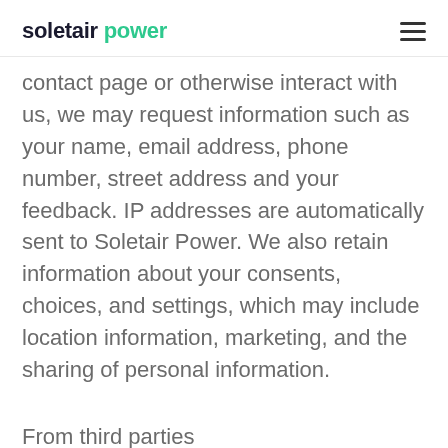soletair power
contact page or otherwise interact with us, we may request information such as your name, email address, phone number, street address and your feedback. IP addresses are automatically sent to Soletair Power. We also retain information about your consents, choices, and settings, which may include location information, marketing, and the sharing of personal information.
From third parties
We also may receive information from third parties